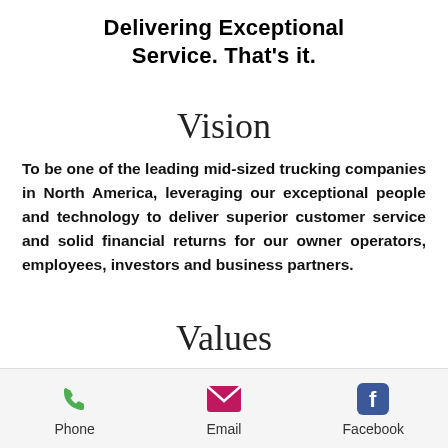Delivering Exceptional Service. That's it.
Vision
To be one of the leading mid-sized trucking companies in North America, leveraging our exceptional people and technology to deliver superior customer service and solid financial returns for our owner operators, employees, investors and business partners.
Values
MORE THAN WORDS
Phone  Email  Facebook